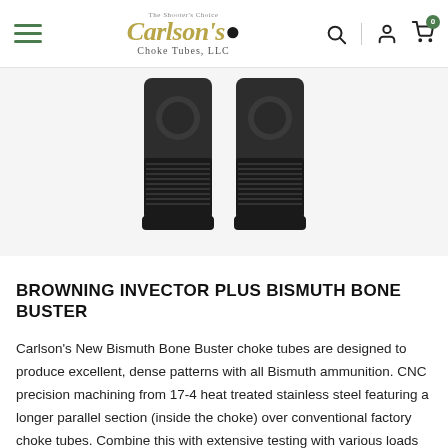Carlson's Choke Tubes, LLC — navigation bar with hamburger menu, logo, search, account, and cart icons
[Figure (photo): Two dark grey/black cylindrical shotgun choke tubes standing upright side by side with threaded bases and engraved logos on a white background.]
BROWNING INVECTOR PLUS BISMUTH BONE BUSTER
Carlson's New Bismuth Bone Buster choke tubes are designed to produce excellent, dense patterns with all Bismuth ammunition. CNC precision machining from 17-4 heat treated stainless steel featuring a longer parallel section (inside the choke) over conventional factory choke tubes. Combine this with extensive testing with various loads and you have the perfect choke to deli...